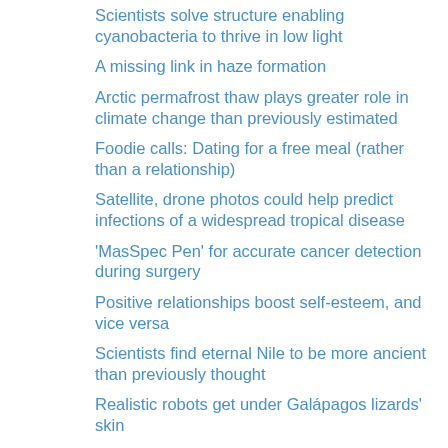Scientists solve structure enabling cyanobacteria to thrive in low light
A missing link in haze formation
Arctic permafrost thaw plays greater role in climate change than previously estimated
Foodie calls: Dating for a free meal (rather than a relationship)
Satellite, drone photos could help predict infections of a widespread tropical disease
'MasSpec Pen' for accurate cancer detection during surgery
Positive relationships boost self-esteem, and vice versa
Scientists find eternal Nile to be more ancient than previously thought
Realistic robots get under Galápagos lizards' skin